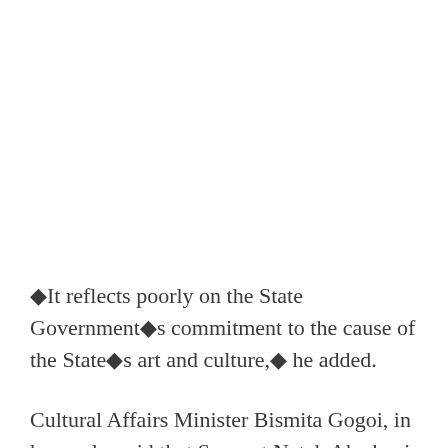◆It reflects poorly on the State Government◆s commitment to the cause of the State◆s art and culture,◆ he added.
Cultural Affairs Minister Bismita Gogoi, in her reply, said that Sangeet Natak Akademi did not make any